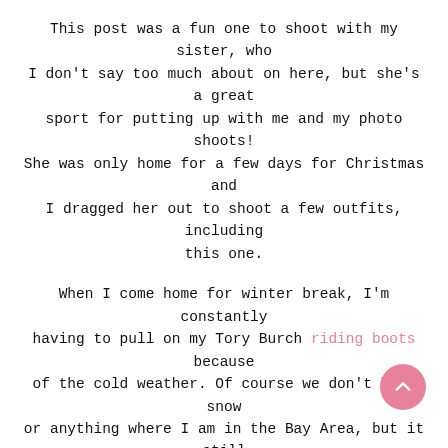This post was a fun one to shoot with my sister, who I don't say too much about on here, but she's a great sport for putting up with me and my photo shoots! She was only home for a few days for Christmas and I dragged her out to shoot a few outfits, including this one.
When I come home for winter break, I'm constantly having to pull on my Tory Burch riding boots because of the cold weather. Of course we don't have snow or anything where I am in the Bay Area, but it still gets into the low 50's during the day and down into the 40's when I'm out at night. These are my warmest shoes that I own, well, besides my Uggs which don't see the light of day much anymore! I'm also getting a lot of use out of my favorite navy quilted puffer vest, which I'm constantly throwing on over a long sleeve, or a sweater like this turtleneck